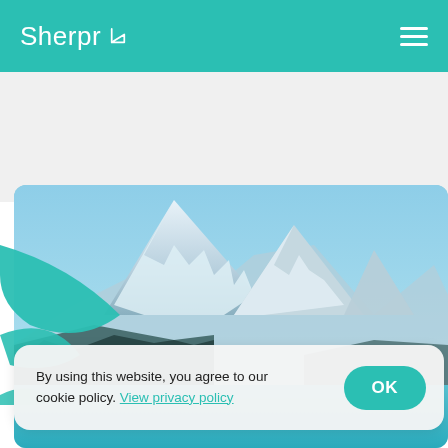Sherpr
[Figure (photo): Snow-capped mountain with blue sky and lake, with teal decorative geometric shapes overlaid on left side]
By using this website, you agree to our cookie policy. View privacy policy